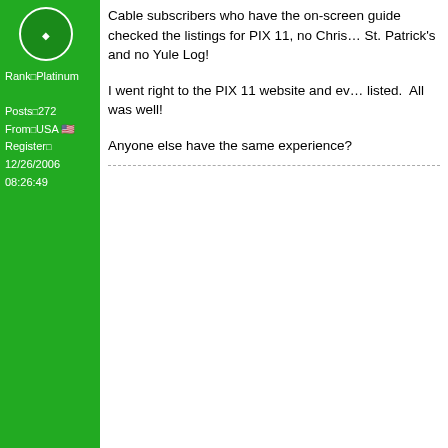Rank: Platinum
Posts: 272
From: USA
Registered: 12/26/2006 08:26:49
Cable subscribers who have the on-screen guide checked the listings for PIX 11, no Christmas, no St. Patrick's and no Yule Log!

I went right to the PIX 11 website and everything was listed. All was well!

Anyone else have the same experience?
Christmas Always
[Figure (illustration): Cartoon image of Sally from Peanuts with gift box on head, sitting and reading]
Rank: Diamond
Posts: 1210
From: USA
Registered: 08/28/2006
Re: 2015 Yule Log Broadcast Schedule (
Date Posted: 12/26/2015 03:06:49
Though I don't live anywhere near NYC, I check the programming for WPIX. They used to get it from Gracenote.
Christmas Isn't Just A Day In December,